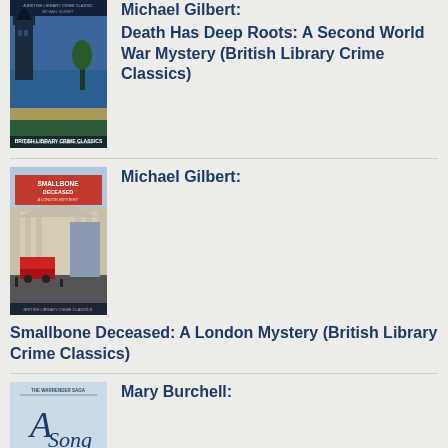[Figure (illustration): Book cover for Death Has Deep Roots by Michael Gilbert - British Library Crime Classics, showing a castle/coastline scene]
Michael Gilbert: Death Has Deep Roots: A Second World War Mystery (British Library Crime Classics)
[Figure (illustration): Book cover for Smallbone Deceased by Michael Gilbert - British Library Crime Classics, showing a London street scene with red double-decker buses and classical buildings, red banner with title at top]
Michael Gilbert: Smallbone Deceased: A London Mystery (British Library Crime Classics)
[Figure (illustration): Book cover for A Song by Mary Burchell - The Warrender Saga, showing a light blue/grey textured background with italic script title]
Mary Burchell: